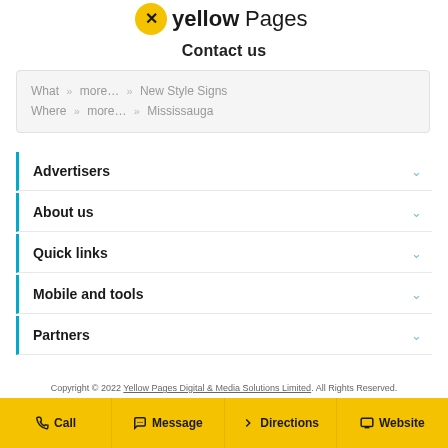[Figure (logo): Yellow Pages logo with yellow circle and bold text 'yellowPages']
Contact us
What » more… » New Style Signs
Where » more… » Mississauga
Advertisers
About us
Quick links
Mobile and tools
Partners
Copyright © 2022 Yellow Pages Digital & Media Solutions Limited. All Rights Reserved.
Call | Message | Directions | Website